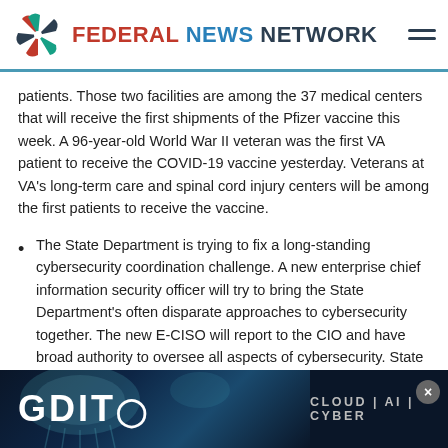FEDERAL NEWS NETWORK
patients. Those two facilities are among the 37 medical centers that will receive the first shipments of the Pfizer vaccine this week. A 96-year-old World War II veteran was the first VA patient to receive the COVID-19 vaccine yesterday. Veterans at VA's long-term care and spinal cord injury centers will be among the first patients to receive the vaccine.
The State Department is trying to fix a long-standing cybersecurity coordination challenge. A new enterprise chief information security officer will try to bring the State Department's often disparate approaches to cybersecurity together. The new E-CISO will report to the CIO and have broad authority to oversee all aspects of cybersecurity. State CIO Stuart McGuigan says any bureau, including Diplomatic Security, that maintains their own cyber in... m... risk
[Figure (screenshot): GDIT advertisement banner: CLOUD | AI | CYBER with jellyfish background image]